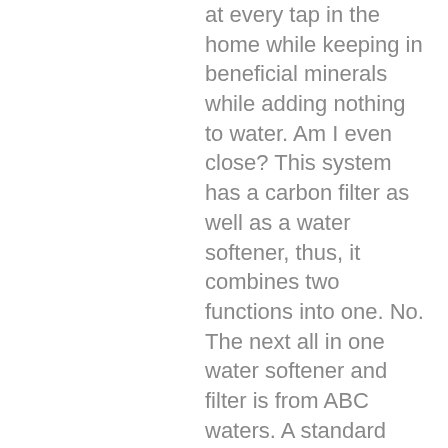at every tap in the home while keeping in beneficial minerals while adding nothing to water. Am I even close? This system has a carbon filter as well as a water softener, thus, it combines two functions into one. No. The next all in one water softener and filter is from ABC waters. A standard test strip to test for hardness will still read hard with a salt free system because calcium and magnesium is technically still in the water; itâs just in a suspended state. Our carbon filters use the